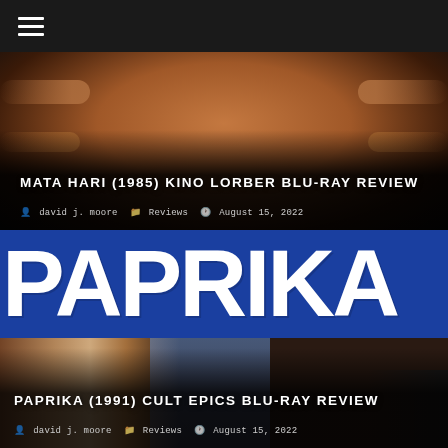☰ (navigation menu)
[Figure (photo): Screenshot of a website showing movie review card for Mata Hari (1985) with a performer image overlaid with title and metadata]
MATA HARI (1985) KINO LORBER BLU-RAY REVIEW
david j. moore   Reviews   August 15, 2022
[Figure (photo): Screenshot of a website showing movie review card for Paprika (1991) with large PAPRIKA text logo and a woman's photo, overlaid with title and metadata]
PAPRIKA (1991) CULT EPICS BLU-RAY REVIEW
david j. moore   Reviews   August 15, 2022